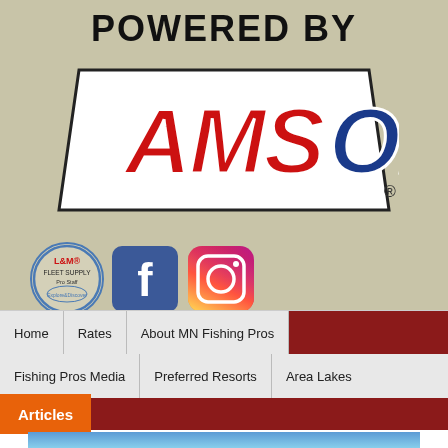POWERED BY
[Figure (logo): AMSOIL logo in red and blue stylized lettering on white background with black border]
[Figure (logo): L&M Fleet Supply Pro Staff circular badge logo]
[Figure (logo): Facebook social media icon - blue square with white f]
[Figure (logo): Instagram social media icon - colorful gradient camera icon]
Home | Rates | About MN Fishing Pros | Fishing Pros Media | Preferred Resorts | Area Lakes
Articles
[Figure (photo): Two men on a boat holding a fish, blue sky with clouds in background]